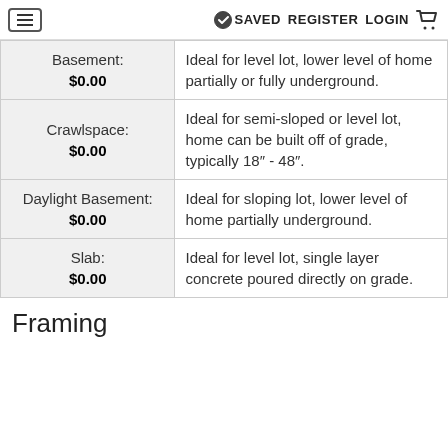≡  ✓ SAVED  REGISTER  LOGIN  🛒
| Option | Description |
| --- | --- |
| Basement: $0.00 | Ideal for level lot, lower level of home partially or fully underground. |
| Crawlspace: $0.00 | Ideal for semi-sloped or level lot, home can be built off of grade, typically 18" - 48". |
| Daylight Basement: $0.00 | Ideal for sloping lot, lower level of home partially underground. |
| Slab: $0.00 | Ideal for level lot, single layer concrete poured directly on grade. |
Framing